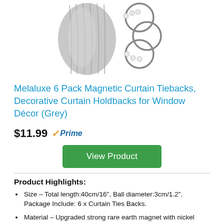[Figure (photo): Product photo showing grey curtain tiebacks with magnetic rings and beads]
Melaluxe 6 Pack Magnetic Curtain Tiebacks, Decorative Curtain Holdbacks for Window Décor (Grey)
$11.99 ✓Prime
View Product
Product Highlights:
Size – Total length:40cm/16", Ball diameter:3cm/1.2". Package Include: 6 x Curtain Ties Backs.
Material – Upgraded strong rare earth magnet with nickel plating which is smooth and durable. The magnet is strong, durable, anti-rust and will not fall off.
Usage – Easy to use without damaging your walls, no curtain hooks needed, no tools required and zero